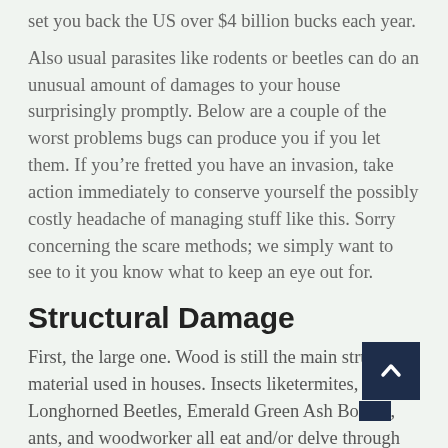set you back the US over $4 billion bucks each year.
Also usual parasites like rodents or beetles can do an unusual amount of damages to your house surprisingly promptly. Below are a couple of the worst problems bugs can produce you if you let them. If you’re fretted you have an invasion, take action immediately to conserve yourself the possibly costly headache of managing stuff like this. Sorry concerning the scare methods; we simply want to see to it you know what to keep an eye out for.
Structural Damage
First, the large one. Wood is still the main structure material used in houses. Insects liketermites, Longhorned Beetles, Emerald Green Ash Borers, ants, and woodworker all eat and/or delve through timber. That loadbearing 2×& times; 4 standing up